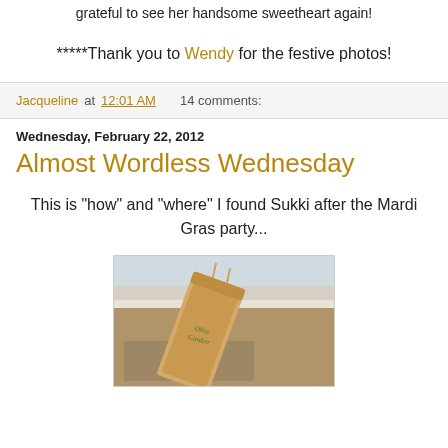grateful to see her handsome sweetheart again!
*****Thank you to Wendy for the festive photos!
Jacqueline at 12:01 AM   14 comments:
Wednesday, February 22, 2012
Almost Wordless Wednesday
This is "how" and "where" I found Sukki after the Mardi Gras party...
[Figure (photo): An Olive Garden paper bag lying on a patterned rug near a baseboard, photographed from above]